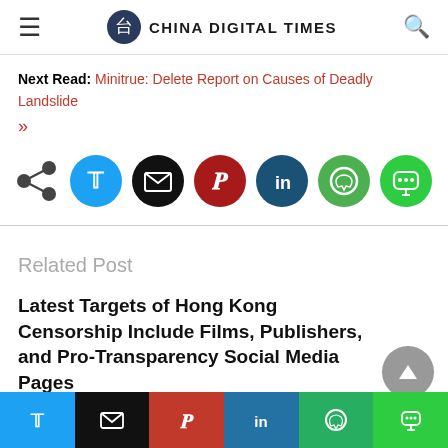CHINA DIGITAL TIMES
Next Read: Minitrue: Delete Report on Causes of Deadly Landslide »
[Figure (infographic): Social share buttons: share icon, Twitter (blue circle), Email (black circle), Pinterest (dark red circle), LinkedIn (dark blue circle), WhatsApp (green circle), LINE (green circle)]
Related Post
Latest Targets of Hong Kong Censorship Include Films, Publishers, and Pro-Transparency Social Media Pages
[Figure (infographic): Bottom social share bar: Twitter, Email, Pinterest, LinkedIn, WhatsApp, LINE]